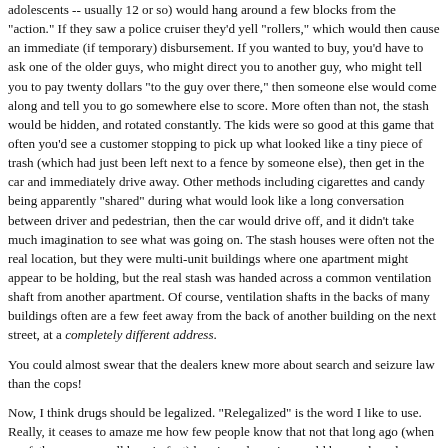adolescents -- usually 12 or so) would hang around a few blocks from the "action." If they saw a police cruiser they'd yell "rollers," which would then cause an immediate (if temporary) disbursement. If you wanted to buy, you'd have to ask one of the older guys, who might direct you to another guy, who might tell you to pay twenty dollars "to the guy over there," then someone else would come along and tell you to go somewhere else to score. More often than not, the stash would be hidden, and rotated constantly. The kids were so good at this game that often you'd see a customer stopping to pick up what looked like a tiny piece of trash (which had just been left next to a fence by someone else), then get in the car and immediately drive away. Other methods including cigarettes and candy being apparently "shared" during what would look like a long conversation between driver and pedestrian, then the car would drive off, and it didn't take much imagination to see what was going on. The stash houses were often not the real location, but they were multi-unit buildings where one apartment might appear to be holding, but the real stash was handed across a common ventilation shaft from another apartment. Of course, ventilation shafts in the backs of many buildings often are a few feet away from the back of another building on the next street, at a completely different address.
You could almost swear that the dealers knew more about search and seizure law than the cops!
Now, I think drugs should be legalized. "Relegalized" is the word I like to use. Really, it ceases to amaze me how few people know that not that long ago (when my father was a small boy, in fact) heroin and cocaine could be purchased over the counter in any neighborhood drug store or ordered from the Sears Roebuck catalogue. If druggies could buy the drugs, urban entrepreneurs wouldn't be setting up these businesses on street corners. And they wouldn't be acting like mini Al Capones, either; when was the last time a shootout occurred over alcohol distribution rights?
I have to say, the libertarian in me was conflicted, because I don't think anyone should be imprisoned for drugs. However, what most bothered me was the noise. I had trouble sleeping because there's something about people "tweaking" in the street at three in the morning (and the inevitable noise that entails) and your alarm clock is going to go off at six, that the libertarian principle is invoked: the right to quiet enjoyment of your home. (I mean,